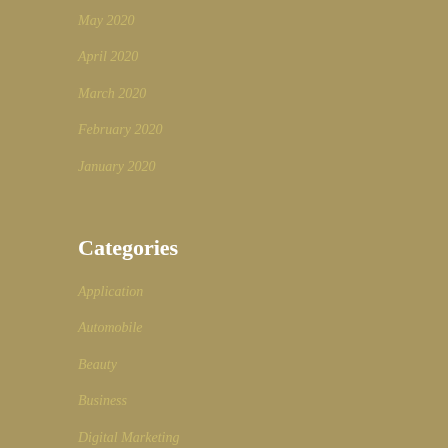May 2020
April 2020
March 2020
February 2020
January 2020
Categories
Application
Automobile
Beauty
Business
Digital Marketing
Education